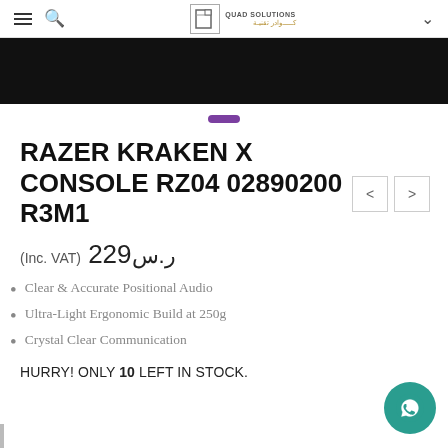QUAD SOLUTIONS
[Figure (photo): Product image strip showing dark background with partial headset image]
RAZER KRAKEN X CONSOLE RZ04 02890200 R3M1
ر.س229 (Inc. VAT)
Clear & Accurate Positional Audio
Ultra-Light Ergonomic Build at 250g
Crystal Clear Communication
HURRY! ONLY 10 LEFT IN STOCK.